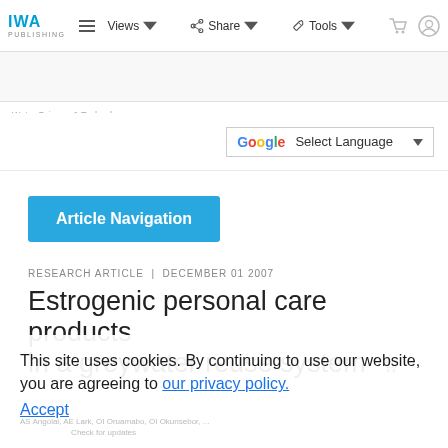IWA PUBLISHING | Views | Share | Tools
Search Site
Select Language
Article Navigation
RESEARCH ARTICLE | DECEMBER 01 2007
Estrogenic personal care products in a greywater reuse system
This site uses cookies. By continuing to use our website, you are agreeing to our privacy policy. Accept